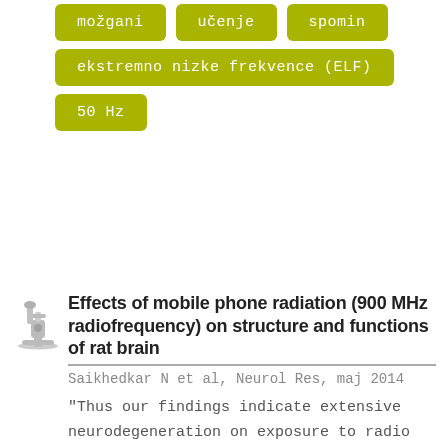možgani
učenje
spomin
ekstremno nizke frekvence (ELF)
50 Hz
[Figure (illustration): Microscope icon in gray]
Effects of mobile phone radiation (900 MHz radiofrequency) on structure and functions of rat brain
Saikhedkar N et al, Neurol Res, maj 2014
"Thus our findings indicate extensive neurodegeneration on exposure to radio waves. Increased production of reactive oxygen species due to exhaustion of enzymatic and non-enzymatic